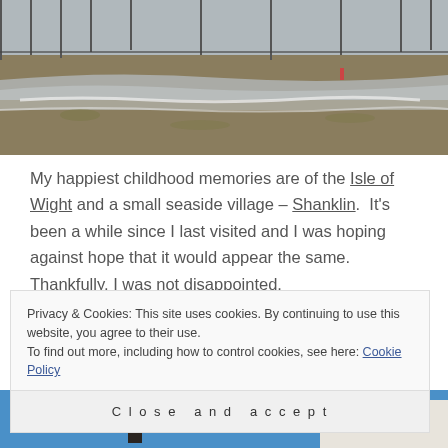[Figure (photo): Beach scene with sand, shoreline, and water with gentle waves. A person visible in the distance near the water's edge.]
My happiest childhood memories are of the Isle of Wight and a small seaside village – Shanklin.  It's been a while since I last visited and I was hoping against hope that it would appear the same. Thankfully, I was not disappointed.
[Figure (photo): Blue sky with a building and a silhouette of a person visible at the top.]
Privacy & Cookies: This site uses cookies. By continuing to use this website, you agree to their use.
To find out more, including how to control cookies, see here: Cookie Policy
Close and accept